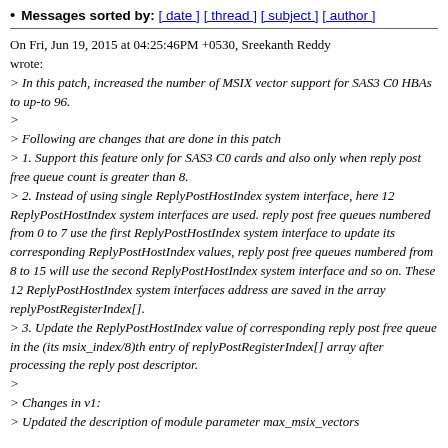Messages sorted by: [ date ] [ thread ] [ subject ] [ author ]
On Fri, Jun 19, 2015 at 04:25:46PM +0530, Sreekanth Reddy wrote:
> In this patch, increased the number of MSIX vector support for SAS3 C0 HBAs to up-to 96.
>
> Following are changes that are done in this patch
> 1. Support this feature only for SAS3 C0 cards and also only when reply post free queue count is greater than 8.
> 2. Instead of using single ReplyPostHostIndex system interface, here 12 ReplyPostHostIndex system interfaces are used. reply post free queues numbered from 0 to 7 use the first ReplyPostHostIndex system interface to update its corresponding ReplyPostHostIndex values, reply post free queues numbered from 8 to 15 will use the second ReplyPostHostIndex system interface and so on. These 12 ReplyPostHostIndex system interfaces address are saved in the array replyPostRegisterIndex[].
> 3. Update the ReplyPostHostIndex value of corresponding reply post free queue in the (its msix_index/8)th entry of replyPostRegisterIndex[] array after processing the reply post descriptor.
>
> Changes in v1:
> Updated the description of module parameter max_msix_vectors